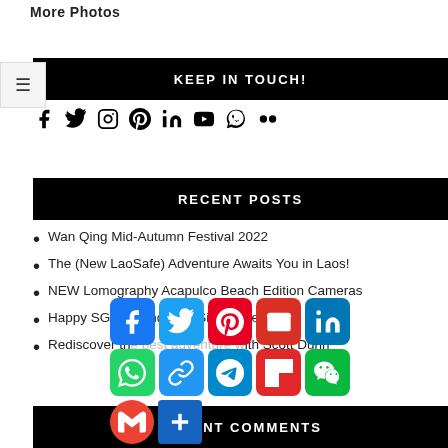More Photos
KEEP IN TOUCH!
[Figure (infographic): Row of social media icons: Facebook, Twitter, Instagram, Pinterest, LinkedIn, YouTube, Google+, Flickr]
RECENT POSTS
Wan Qing Mid-Autumn Festival 2022
The (New LaoSafe) Adventure Awaits You in Laos!
NEW Lomography Acapulco Beach Edition Cameras
Happy SG57 Birthday to Singapore!
Rediscover the best adventure with Scott Dunn
RECENT COMMENTS